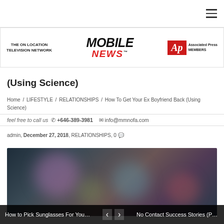Mobile News - Navigation header with hamburger menu
[Figure (logo): Logo bar with The On Location Television Network, Mobile News (center), and Associated Press Members logos]
How To Get Your Ex Boyfriend Back (Using Science)
Home / LIFESTYLE / RELATIONSHIPS / How To Get Your Ex Boyfriend Back (Using Science)
feel free to call us  +646-389-3981  info@mmnofa.com
admin, December 27, 2018, RELATIONSHIPS, 0
[Figure (photo): Blurred/bokeh featured image with colorful circular light blobs on dark background]
How to Pick Sunglasses For Your...  <  >  No Contact Success Stories (Part 5)